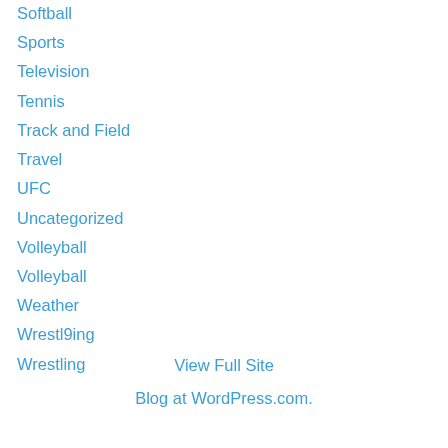Softball
Sports
Television
Tennis
Track and Field
Travel
UFC
Uncategorized
Volleyball
Volleyball
Weather
Wrestl9ing
Wrestling
View Full Site
Blog at WordPress.com.